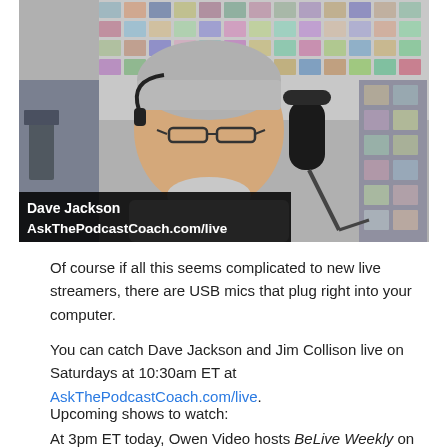[Figure (photo): A man with grey hair and glasses speaking into a large microphone in a home studio setting. Behind him is a wall collage of many small photos of people. A lower-third overlay reads 'Dave Jackson / AskThePodcastCoach.com/live'.]
Of course if all this seems complicated to new live streamers, there are USB mics that plug right into your computer.
You can catch Dave Jackson and Jim Collison live on Saturdays at 10:30am ET at AskThePodcastCoach.com/live.
Upcoming shows to watch:
At 3pm ET today, Owen Video hosts BeLive Weekly on the BeLive TV Facebook page. Fallon Zoe joins Owen to share tips on